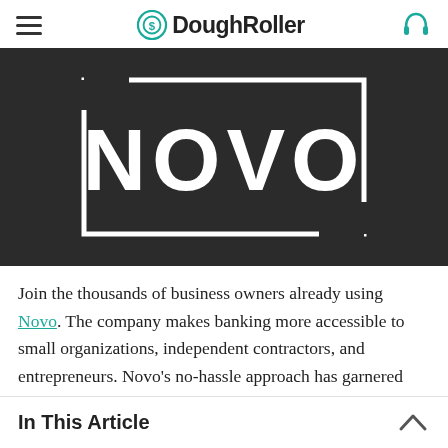DoughRoller
[Figure (logo): NOVO logo — white text 'NOVO' with a rectangular border on dark/black background]
Join the thousands of business owners already using Novo. The company makes banking more accessible to small organizations, independent contractors, and entrepreneurs. Novo's no-hassle approach has garnered
In This Article